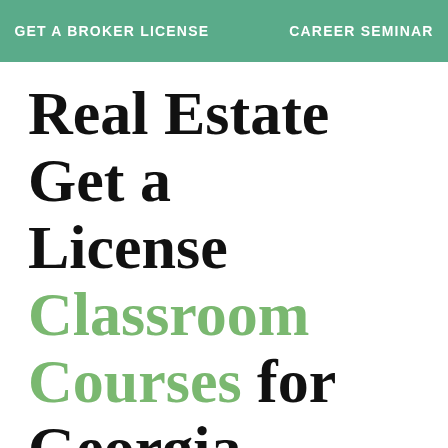GET A BROKER LICENSE    CAREER SEMINAR
Real Estate Get a License Classroom Courses for Georgia.